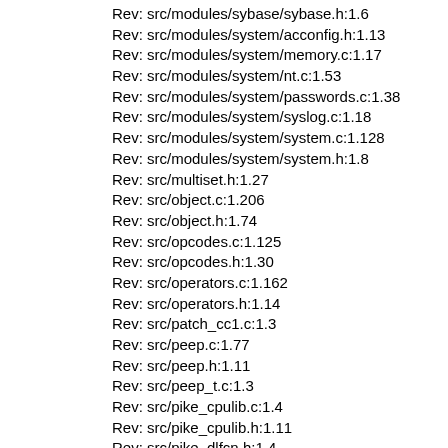Rev: src/modules/sybase/sybase.h:1.6
Rev: src/modules/system/acconfig.h:1.13
Rev: src/modules/system/memory.c:1.17
Rev: src/modules/system/nt.c:1.53
Rev: src/modules/system/passwords.c:1.38
Rev: src/modules/system/syslog.c:1.18
Rev: src/modules/system/system.c:1.128
Rev: src/modules/system/system.h:1.8
Rev: src/multiset.h:1.27
Rev: src/object.c:1.206
Rev: src/object.h:1.74
Rev: src/opcodes.c:1.125
Rev: src/opcodes.h:1.30
Rev: src/operators.c:1.162
Rev: src/operators.h:1.14
Rev: src/patch_cc1.c:1.3
Rev: src/peep.c:1.77
Rev: src/peep.h:1.11
Rev: src/peep_t.c:1.3
Rev: src/pike_cpulib.c:1.4
Rev: src/pike_cpulib.h:1.11
Rev: src/pike_dlfcn.h:1.4
Rev: src/pike_error.h:1.21
Rev: src/pike_macros.h:1.33
Rev: src/pike_memory.c:1.124